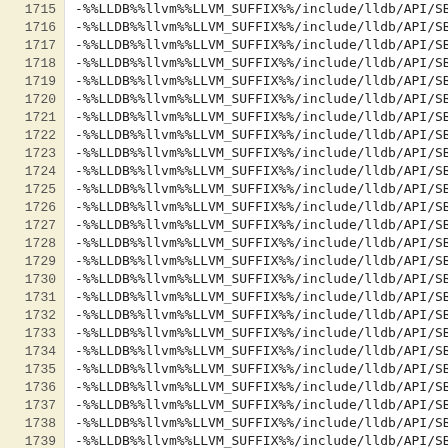| line | code |
| --- | --- |
| 1715 | -%%LLDB%%llvm%%LLVM_SUFFIX%%/include/lldb/API/SBCommandR |
| 1716 | -%%LLDB%%llvm%%LLVM_SUFFIX%%/include/lldb/API/SBCommunic |
| 1717 | -%%LLDB%%llvm%%LLVM_SUFFIX%%/include/lldb/API/SBCompileU |
| 1718 | -%%LLDB%%llvm%%LLVM_SUFFIX%%/include/lldb/API/SBData.h |
| 1719 | -%%LLDB%%llvm%%LLVM_SUFFIX%%/include/lldb/API/SBDebugger |
| 1720 | -%%LLDB%%llvm%%LLVM_SUFFIX%%/include/lldb/API/SBDeclarat |
| 1721 | -%%LLDB%%llvm%%LLVM_SUFFIX%%/include/lldb/API/SBDefines. |
| 1722 | -%%LLDB%%llvm%%LLVM_SUFFIX%%/include/lldb/API/SBError.h |
| 1723 | -%%LLDB%%llvm%%LLVM_SUFFIX%%/include/lldb/API/SBEvent.h |
| 1724 | -%%LLDB%%llvm%%LLVM_SUFFIX%%/include/lldb/API/SBExecutio |
| 1725 | -%%LLDB%%llvm%%LLVM_SUFFIX%%/include/lldb/API/SBExpressi |
| 1726 | -%%LLDB%%llvm%%LLVM_SUFFIX%%/include/lldb/API/SBFileSpec |
| 1727 | -%%LLDB%%llvm%%LLVM_SUFFIX%%/include/lldb/API/SBFileSpec |
| 1728 | -%%LLDB%%llvm%%LLVM_SUFFIX%%/include/lldb/API/SBFrame.h |
| 1729 | -%%LLDB%%llvm%%LLVM_SUFFIX%%/include/lldb/API/SBFunction |
| 1730 | -%%LLDB%%llvm%%LLVM_SUFFIX%%/include/lldb/API/SBHostOS.h |
| 1731 | -%%LLDB%%llvm%%LLVM_SUFFIX%%/include/lldb/API/SBInstruct |
| 1732 | -%%LLDB%%llvm%%LLVM_SUFFIX%%/include/lldb/API/SBInstruct |
| 1733 | -%%LLDB%%llvm%%LLVM_SUFFIX%%/include/lldb/API/SBLanguage |
| 1734 | -%%LLDB%%llvm%%LLVM_SUFFIX%%/include/lldb/API/SBLaunchIn |
| 1735 | -%%LLDB%%llvm%%LLVM_SUFFIX%%/include/lldb/API/SBLineEntr |
| 1736 | -%%LLDB%%llvm%%LLVM_SUFFIX%%/include/lldb/API/SBListener |
| 1737 | -%%LLDB%%llvm%%LLVM_SUFFIX%%/include/lldb/API/SBMemoryRe |
| 1738 | -%%LLDB%%llvm%%LLVM_SUFFIX%%/include/lldb/API/SBMemoryRe |
| 1739 | -%%LLDB%%llvm%%LLVM_SUFFIX%%/include/lldb/API/SBModule.h |